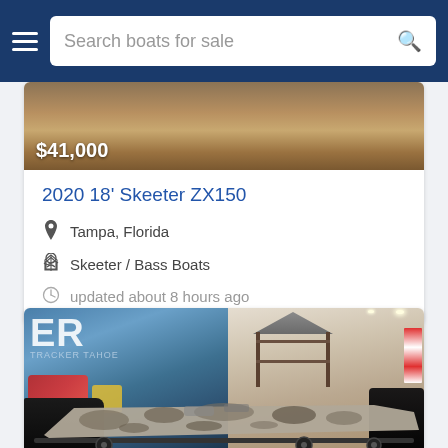Search boats for sale
[Figure (photo): Partial view of a boat listing image with price overlay showing $41,000]
2020 18' Skeeter ZX150
Tampa, Florida
Skeeter / Bass Boats
updated about 8 hours ago
[Figure (photo): Interior boat showroom photo showing a camo-wrapped bass boat on a trailer inside a dealership with a blue Skeeter banner and a gazebo structure in the background]